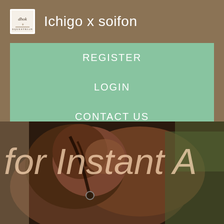Ichigo x soifon
REGISTER
LOGIN
CONTACT US
[Figure (photo): Close-up photo of a horse's head and neck with bridle and reins, with large italic text overlay reading 'for Instant A' partially visible]